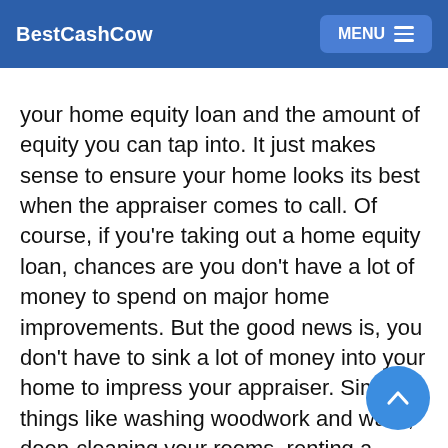BestCashCow | MENU
value. Why? Because the appraisal of your home's value will play a big role in determining the your home equity loan and the amount of equity you can tap into. It just makes sense to ensure your home looks its best when the appraiser comes to call. Of course, if you're taking out a home equity loan, chances are you don't have a lot of money to spend on major home improvements. But the good news is, you don't have to sink a lot of money into your home to impress your appraiser. Simple things like washing woodwork and walls, deep-cleaning your rooms, renting a carpet cleaning machine, putting some potted plants on your front porch and making sure minor repairs are made can help your home make the best impression during your appraisal.